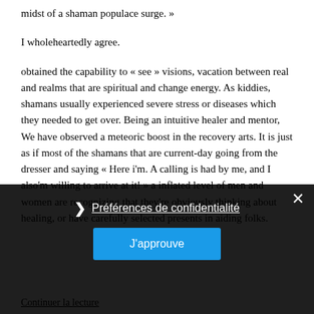midst of a shaman populace surge. »
I wholeheartedly agree.
obtained the capability to « see » visions, vacation between real and realms that are spiritual and change energy. As kiddies, shamans usually experienced severe stress or diseases which they needed to get over. Being an intuitive healer and mentor, We have observed a meteoric boost in the recovery arts. It is just as if most of the shamans that are current-day going from the dresser and saying « Here i'm. A calling is had by me, and I also'm willing to arrive at it! » a inflated level of men and women are recognizing that they're obviously thinking about healing, or have carefully selected presents in aiding folks.
Préférences de confidentialité
J'approuve
Continuer la lecture